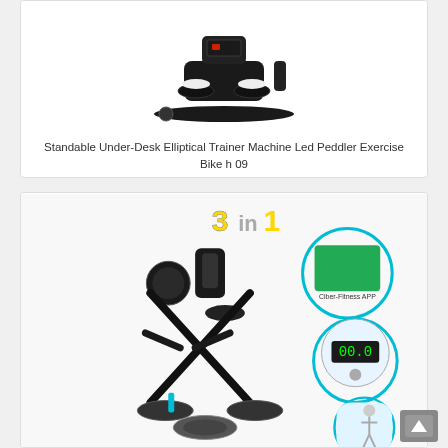[Figure (photo): Black under-desk elliptical trainer/peddler exercise machine on white background]
Standable Under-Desk Elliptical Trainer Machine Led Peddler Exercise Bike h 09
[Figure (photo): 3-in-1 exercise bike showing a black foldable stationary bike with back support, alongside circular inset images of a fitness app, LCD display monitor, and a woman using the bike]
[Figure (other): Scroll to top button at bottom right corner]